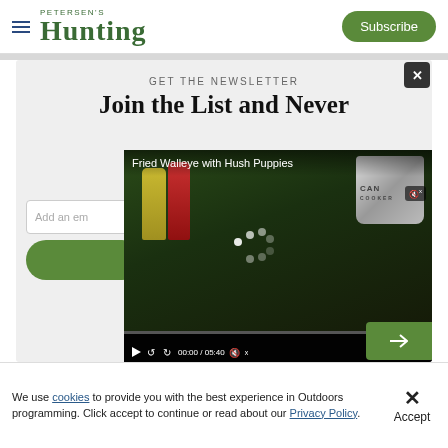PETERSEN'S HUNTING | Subscribe
GET THE NEWSLETTER
Join the List and Never
[Figure (screenshot): Video player showing 'Fried Walleye with Hush Puppies' recipe video with condiment bottles, a CAN COOKER pot, and video controls showing 00:00 / 05:40]
Add an em
We use cookies to provide you with the best experience in Outdoors programming. Click accept to continue or read about our Privacy Policy.